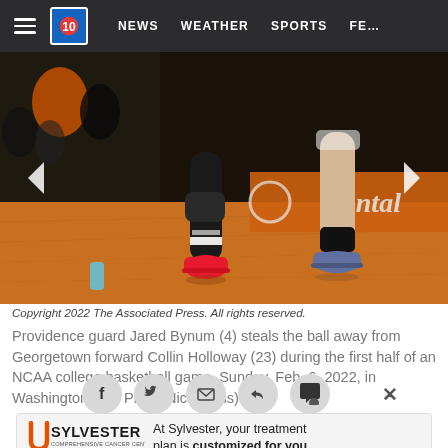NEWS  WEATHER  SPORTS  FE…
[Figure (photo): Basketball court photo showing players' legs from the knees down running on an orange hardwood court. One player wears black tights and bright red/pink shoes; another player wears black socks and gray/navy shoes. A Continental tire advertisement banner is visible in background.]
Copyright 2022 The Associated Press. All rights reserved.
Providence guard Jared Bynum (4) steals the ball away from Georgetown forward Collin Holloway (23) during the first half of an NCAA college basketball game, Sunday, Feb. 6, 2022, in Washington. (AP Photo/Nick Wass)
[Figure (infographic): Social sharing icons row: Facebook, Twitter, Email, Reply/Share, and Comments icons as grey circles, plus an X close button on the right]
[Figure (logo): Sylvester Comprehensive Cancer Center / University of Miami Health System advertisement banner with logo on left and text 'At Sylvester, your treatment plan is customized for you' on right]